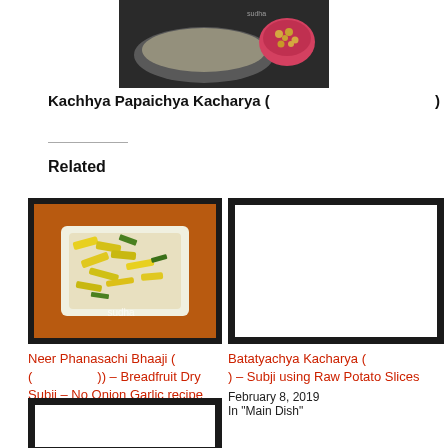[Figure (photo): Food photo showing a dish with peanuts in a pink bowl on a dark background]
Kachhya Papaichya Kacharya ( )
Related
[Figure (photo): Neer Phanasachi Bhaaji - Breadfruit dry subji dish with yellow pieces in a white tray, watermark 'sudha']
Neer Phanasachi Bhaaji ( ( )) – Breadfruit Dry Subji – No Onion Garlic recipe
April 28, 2022
In "Main Dish"
[Figure (photo): Blank white image placeholder with dark border for Batatyachya Kacharya]
Batatyachya Kacharya ( ) – Subji using Raw Potato Slices
February 8, 2019
In "Main Dish"
[Figure (photo): Third related post image, partially visible at bottom]